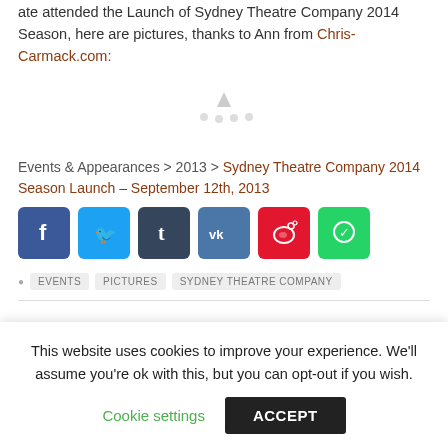ate attended the Launch of Sydney Theatre Company 2014 Season, here are pictures, thanks to Ann from Chris-Carmack.com:
[Figure (other): Placeholder image area with small triangular/dot icons in center]
Events & Appearances > 2013 > Sydney Theatre Company 2014 Season Launch – September 12th, 2013
[Figure (other): Social share buttons: Facebook, Twitter, Tumblr, VK, Weibo, WhatsApp]
EVENTS   PICTURES   SYDNEY THEATRE COMPANY
This website uses cookies to improve your experience. We'll assume you're ok with this, but you can opt-out if you wish.
Cookie settings   ACCEPT